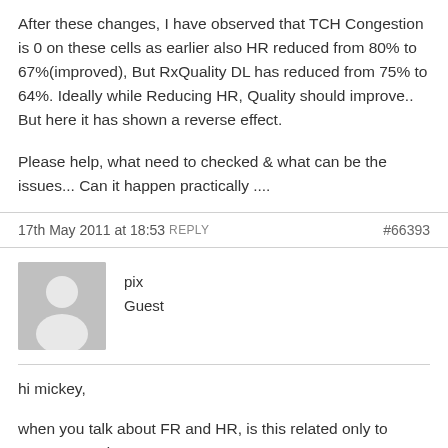After these changes, I have observed that TCH Congestion is 0 on these cells as earlier also HR reduced from 80% to 67%(improved), But RxQuality DL has reduced from 75% to 64%. Ideally while Reducing HR, Quality should improve.. But here it has shown a reverse effect.

Please help, what need to checked & what can be the issues... Can it happen practically ....
17th May 2011 at 18:53 REPLY   #66393
[Figure (illustration): Default user avatar showing a silhouette of a person on a grey background]
pix
Guest
hi mickey,

when you talk about FR and HR, is this related only to AMR-HR and AMR-FR ?

Did you notice any change in the utilisation of AMR vs. non-AMR codecs ?